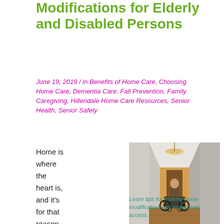Wheelchair Home Modifications for Elderly and Disabled Persons
June 19, 2019 / in Benefits of Home Care, Choosing Home Care, Dementia Care, Fall Prevention, Family Caregiving, Hillendale Home Care Resources, Senior Health, Senior Safety
Home is where the heart is, and it's for that reason that so many people
[Figure (photo): Person in a wheelchair viewed from behind, traveling down a narrow hallway with hardwood floors and white walls, chandelier visible in background]
Learn tips for making home modifications for wheelchair access...